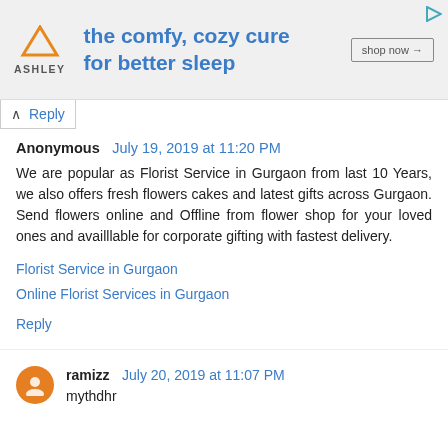[Figure (other): Ashley Furniture advertisement banner with logo, tagline 'the comfy, cozy cure for better sleep', and 'shop now' button]
Reply
Anonymous July 19, 2019 at 11:20 PM
We are popular as Florist Service in Gurgaon from last 10 Years, we also offers fresh flowers cakes and latest gifts across Gurgaon. Send flowers online and Offline from flower shop for your loved ones and availble for corporate gifting with fastest delivery.

Florist Service in Gurgaon
Online Florist Services in Gurgaon

Reply
ramizz July 20, 2019 at 11:07 PM
mythdhr